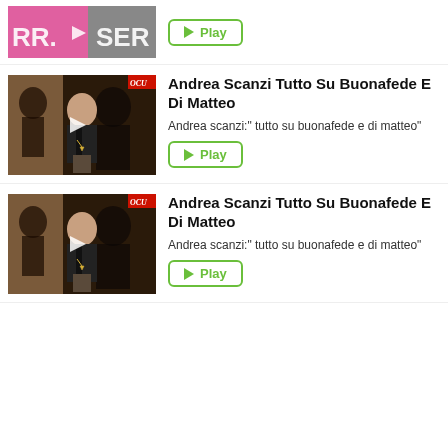[Figure (screenshot): Partial video thumbnail cropped at top, showing pink/dark background with partial text 'RR' and 'SER']
[Figure (other): Play button]
[Figure (screenshot): Video thumbnail of Andrea Scanzi speaking at podium with music poster background, red OCU badge top right]
Andrea Scanzi Tutto Su Buonafede E Di Matteo
Andrea scanzi:" tutto su buonafede e di matteo"
[Figure (other): Play button]
[Figure (screenshot): Video thumbnail of Andrea Scanzi speaking at podium with music poster background, red OCU badge top right]
Andrea Scanzi Tutto Su Buonafede E Di Matteo
Andrea scanzi:" tutto su buonafede e di matteo"
[Figure (other): Play button]